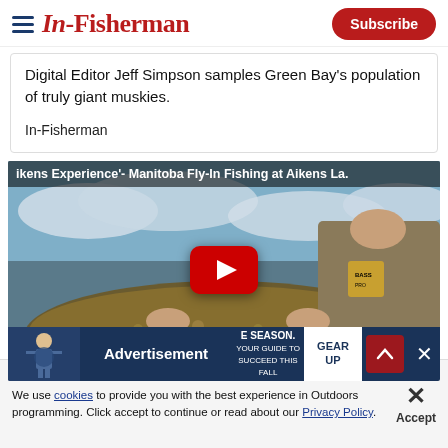In-Fisherman — Subscribe
Digital Editor Jeff Simpson samples Green Bay's population of truly giant muskies.
In-Fisherman
[Figure (screenshot): YouTube video thumbnail for 'Aikens Experience'- Manitoba Fly-In Fishing at Aikens La.' showing a man in a fishing shirt holding a large fish against a cloudy sky, with a YouTube play button overlay and an advertisement bar at the bottom reading 'Advertisement' with 'GEAR UP' text.]
We use cookies to provide you with the best experience in Outdoors programming. Click accept to continue or read about our Privacy Policy.